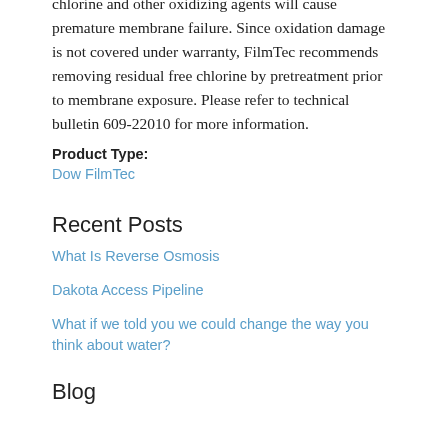chlorine and other oxidizing agents will cause premature membrane failure. Since oxidation damage is not covered under warranty, FilmTec recommends removing residual free chlorine by pretreatment prior to membrane exposure. Please refer to technical bulletin 609-22010 for more information.
Product Type:
Dow FilmTec
Recent Posts
What Is Reverse Osmosis
Dakota Access Pipeline
What if we told you we could change the way you think about water?
Blog